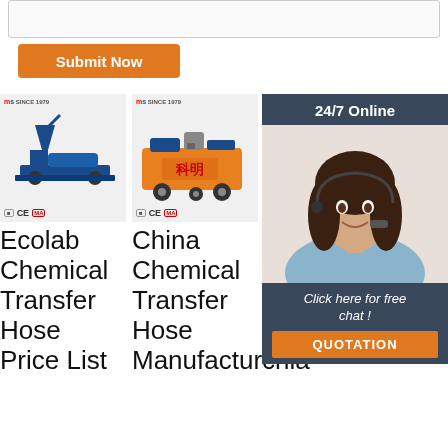[Figure (screenshot): Text input area at top of page]
Submit Now
[Figure (photo): 24/7 Online chat overlay with woman wearing headset, Click here for free chat!, QUOTATION button]
[Figure (photo): Ecolab Chemical Transfer Hose machine product image with logo and CE MA certifications]
Ecolab Chemical Transfer Hose Price List
[Figure (photo): China Chemical Transfer Hose orange machine product image with logo and CE MA certifications]
China Chemical Transfer Hose Manufacturchia
[Figure (photo): Flexible Chemical Transfer Hose product image with logo and certifications]
Flexible Chemical Transfer Hose In